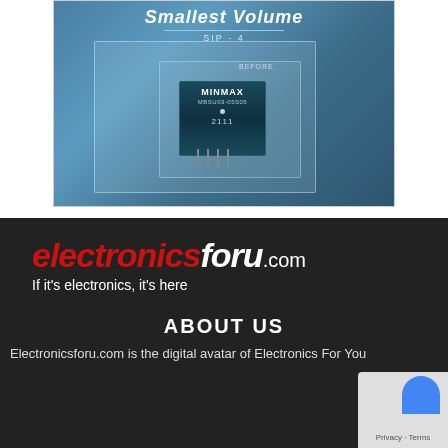[Figure (photo): MINMAX electronic component (SIP-4 package, model MBSU03-05S05) shown inside a glass/transparent box with 'BEFORE' label, on a blue gradient background with 'Smallest Volume' title]
[Figure (logo): electronicsforu.com logo in red italic and white text with tagline 'If it's electronics, it's here']
ABOUT US
Electronicsforu.com is the digital avatar of Electronics For You